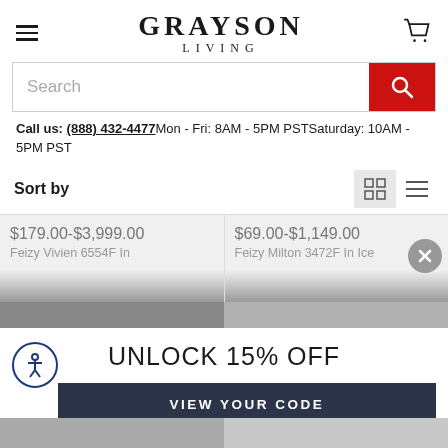GRAYSON LIVING
Search
Call us: (888) 432-4477 Mon - Fri: 8AM - 5PM PST Saturday: 10AM - 5PM PST
Sort by
$179.00-$3,999.00 Feizy Vivien 6554F In
$69.00-$1,149.00 Feizy Milton 3472F In Ice
UNLOCK 15% OFF
VIEW YOUR CODE